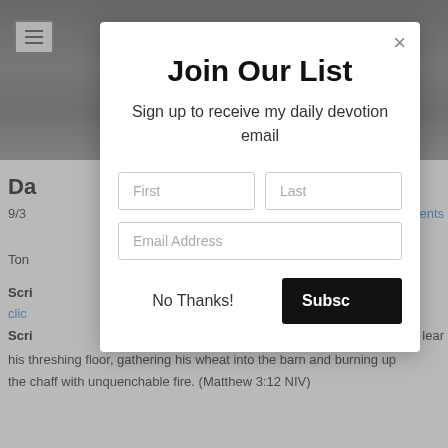[Figure (screenshot): Website background showing city skyline banner at top and article content below, partially obscured by modal overlay]
Join Our List
Sign up to receive my daily devotion email
First
Last
Email Address
No Thanks!
Subscribe